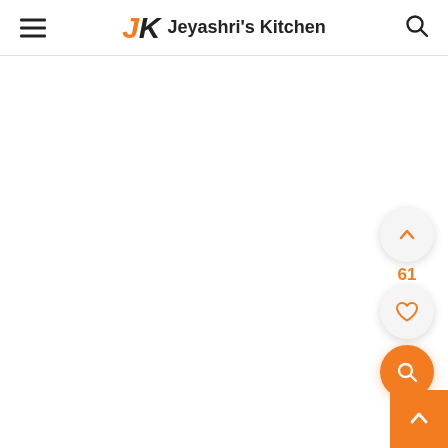Jeyashri's Kitchen
[Figure (screenshot): Website screenshot of Jeyashri's Kitchen food blog. Header bar with hamburger menu, JK logo in orange, site name, and search icon. White content area. Right side floating action buttons: up arrow button, vote count 61, heart/like button, orange search button. Orange scroll-to-top button at bottom right corner.]